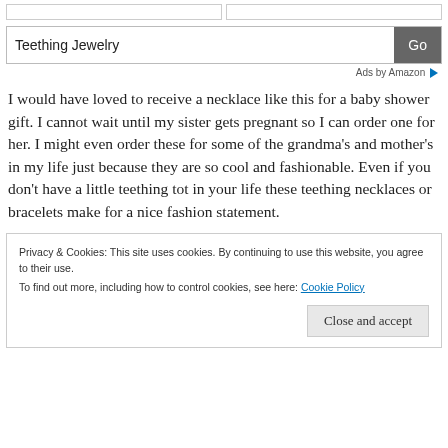[Figure (screenshot): Two empty white input bar elements side by side at the top of the page]
[Figure (screenshot): Search bar with text 'Teething Jewelry' and a grey 'Go' button]
Ads by Amazon
I would have loved to receive a necklace like this for a baby shower gift. I cannot wait until my sister gets pregnant so I can order one for her. I might even order these for some of the grandma's and mother's in my life just because they are so cool and fashionable. Even if you don't have a little teething tot in your life these teething necklaces or bracelets make for a nice fashion statement.
Privacy & Cookies: This site uses cookies. By continuing to use this website, you agree to their use.
To find out more, including how to control cookies, see here: Cookie Policy
Close and accept